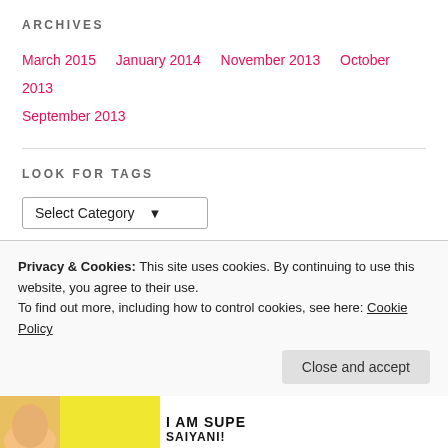ARCHIVES
March 2015   January 2014   November 2013   October 2013   September 2013
LOOK FOR TAGS
Select Category
VIEW COUNT FOR ZE BLOG
27,244 people know what I'm sayin...
Privacy & Cookies: This site uses cookies. By continuing to use this website, you agree to their use.
To find out more, including how to control cookies, see here: Cookie Policy
Close and accept
[Figure (illustration): Bottom strip showing partial cartoon illustration and yellow background with text 'I AM SUPE SAIVAN!!']